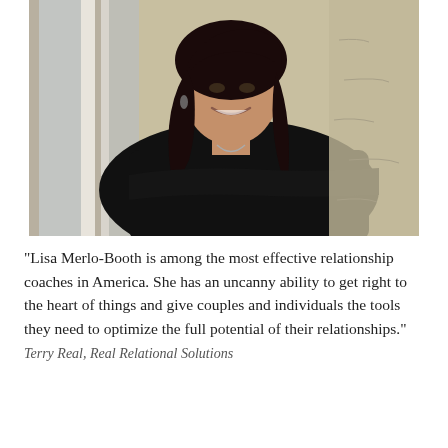[Figure (photo): Professional portrait photo of Lisa Merlo-Booth, a woman with long dark hair wearing a black top, leaning against a window frame with a beige/tan stone wall background, smiling at the camera.]
"Lisa Merlo-Booth is among the most effective relationship coaches in America. She has an uncanny ability to get right to the heart of things and give couples and individuals the tools they need to optimize the full potential of their relationships."
Terry Real, Real Relational Solutions